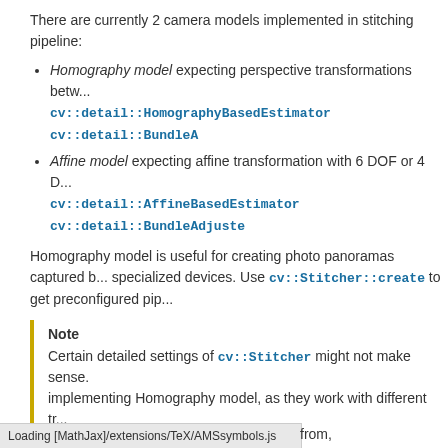There are currently 2 camera models implemented in stitching pipeline:
Homography model expecting perspective transformations between images. cv::detail::HomographyBasedEstimator cv::detail::BundleA...
Affine model expecting affine transformation with 6 DOF or 4 DOF. cv::detail::AffineBasedEstimator cv::detail::BundleAdjuste...
Homography model is useful for creating photo panoramas captured by specialized devices. Use cv::Stitcher::create to get preconfigured pip...
Note
Certain detailed settings of cv::Stitcher might not make sense. implementing Homography model, as they work with different tr...
Function Documentation
◆ GraphEdge()
Loading [MathJax]/extensions/TeX/AMSsymbols.js
from,